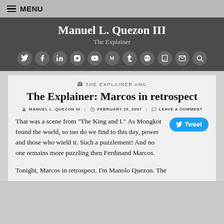MENU
Manuel L. Quezon III
The Explainer
[Figure (other): Row of social media icons: Twitter, Facebook, LinkedIn, Instagram, YouTube, Medium, Tumblr, Spotify, Goodreads, Email, Search]
THE EXPLAINER ANC
The Explainer: Marcos in retrospect
MANUEL L. QUEZON III   FEBRUARY 19, 2007   LEAVE A COMMENT
That was a scene from "The King and I." As Mongkot found the world, so too do we find to this day, power and those who wield it. Such a puzzlement! And no one remains more puzzling then Ferdinand Marcos.
Tonight, Marcos in retrospect. I'm Manolo Quezon. The